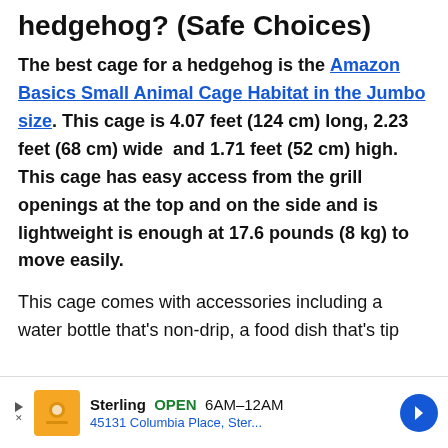hedgehog? (Safe Choices)
The best cage for a hedgehog is the Amazon Basics Small Animal Cage Habitat in the Jumbo size. This cage is 4.07 feet (124 cm) long, 2.23 feet (68 cm) wide and 1.71 feet (52 cm) high. This cage has easy access from the grill openings at the top and on the side and is lightweight is enough at 17.6 pounds (8 kg) to move easily.
This cage comes with accessories including a water bottle that's non-drip, a food dish that's tip
[Figure (other): Advertisement banner: Sterling OPEN 6AM-12AM, 45131 Columbia Place, Ster... with orange logo icon and blue navigation arrow]